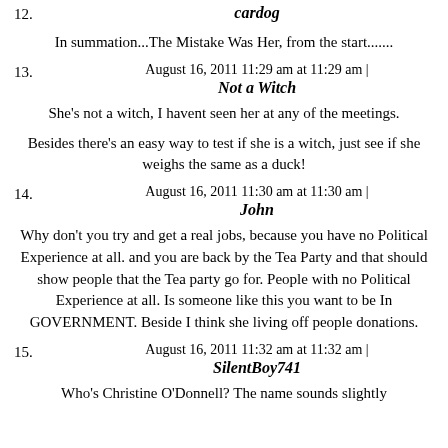12. cardog
In summation...The Mistake Was Her, from the start.......
August 16, 2011 11:29 am at 11:29 am | 13. Not a Witch
She's not a witch, I havent seen her at any of the meetings.
Besides there's an easy way to test if she is a witch, just see if she weighs the same as a duck!
August 16, 2011 11:30 am at 11:30 am | 14. John
Why don't you try and get a real jobs, because you have no Political Experience at all. and you are back by the Tea Party and that should show people that the Tea party go for. People with no Political Experience at all. Is someone like this you want to be In GOVERNMENT. Beside I think she living off people donations.
August 16, 2011 11:32 am at 11:32 am | 15. SilentBoy741
Who's Christine O'Donnell? The name sounds slightly